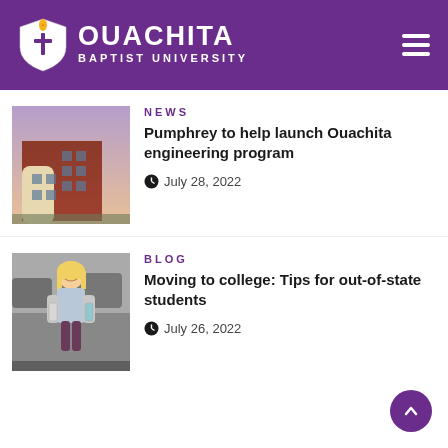OUACHITA BAPTIST UNIVERSITY
NEWS
Pumphrey to help launch Ouachita engineering program
July 28, 2022
[Figure (photo): Exterior of a brick university building at dusk/twilight with warm lighting]
BLOG
Moving to college: Tips for out-of-state students
July 26, 2022
[Figure (photo): Young blonde college student smiling and holding bags/items in a parking lot]